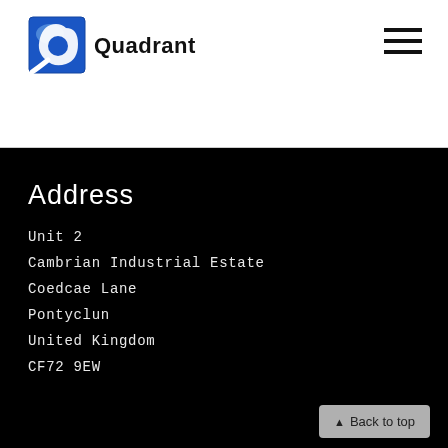[Figure (logo): Quadrant company logo: blue square icon with white Q-like shape, followed by bold text 'Quadrant']
Address
Unit 2
Cambrian Industrial Estate
Coedcae Lane
Pontyclun
United Kingdom
CF72 9EW
▲ Back to top